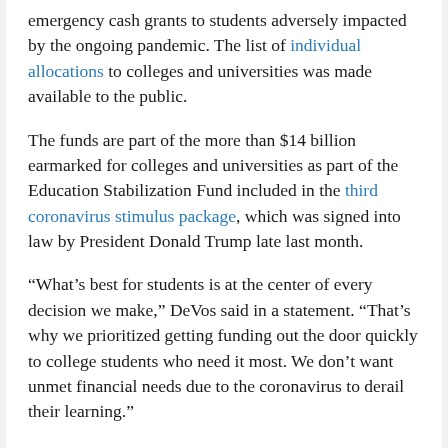emergency cash grants to students adversely impacted by the ongoing pandemic. The list of individual allocations to colleges and universities was made available to the public.
The funds are part of the more than $14 billion earmarked for colleges and universities as part of the Education Stabilization Fund included in the third coronavirus stimulus package, which was signed into law by President Donald Trump late last month.
“What’s best for students is at the center of every decision we make,” DeVos said in a statement. “That’s why we prioritized getting funding out the door quickly to college students who need it most. We don’t want unmet financial needs due to the coronavirus to derail their learning.”
Rep. Bobby Scott (D-Va.), chairman of the House